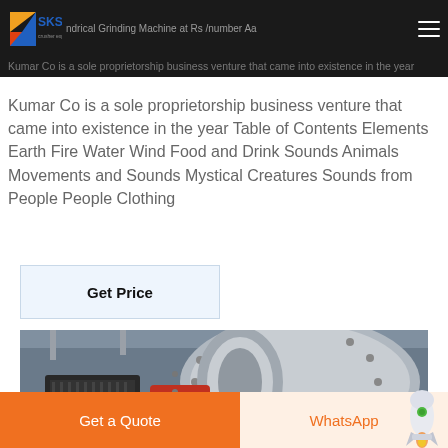Miss Marple s Musings
SKS crusher expert — Cylindrical Grinding Machine at Rs /number Aa Kumar Co is a sole proprietorship business venture that came into existence in the year
Kumar Co is a sole proprietorship business venture that came into existence in the year Table of Contents Elements Earth Fire Water Wind Food and Drink Sounds Animals Movements and Sounds Mystical Creatures Sounds from People People Clothing
[Figure (other): Get Price button — light blue rectangular button with bold text 'Get Price']
[Figure (photo): Industrial cylindrical grinding machine close-up photograph showing large metal drum with bolts and flanges, red housing component, black motor unit, industrial warehouse setting]
Get a Quote
WhatsApp